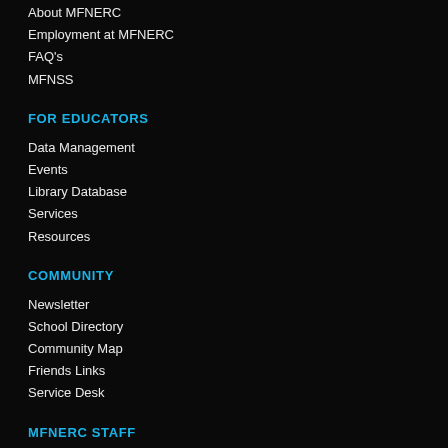About MFNERC
Employment at MFNERC
FAQ's
MFNSS
FOR EDUCATORS
Data Management
Events
Library Database
Services
Resources
COMMUNITY
Newsletter
School Directory
Community Map
Friends Links
Service Desk
MFNERC STAFF
Department Staff Listing
SRTS
Webmail